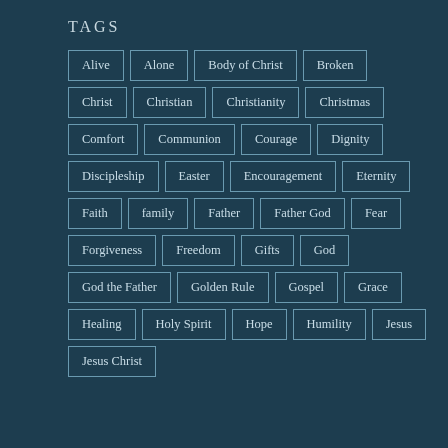TAGS
Alive
Alone
Body of Christ
Broken
Christ
Christian
Christianity
Christmas
Comfort
Communion
Courage
Dignity
Discipleship
Easter
Encouragement
Eternity
Faith
family
Father
Father God
Fear
Forgiveness
Freedom
Gifts
God
God the Father
Golden Rule
Gospel
Grace
Healing
Holy Spirit
Hope
Humility
Jesus
Jesus Christ